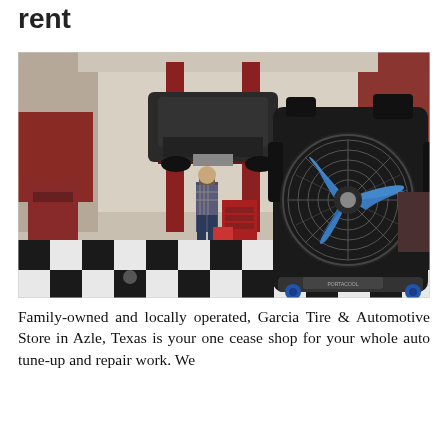rent
[Figure (photo): A large black portable evaporative cooler fan with blue blades on wheels sits in the foreground of an auto repair shop. In the background, a car is lifted on a hydraulic lift, a mechanic in plaid shirt stands working, and red tool chests are visible. The floor has a black-and-white checkerboard tile pattern.]
Family-owned and locally operated, Garcia Tire & Automotive Store in Azle, Texas is your one cease shop for your whole auto tune-up and repair work. We